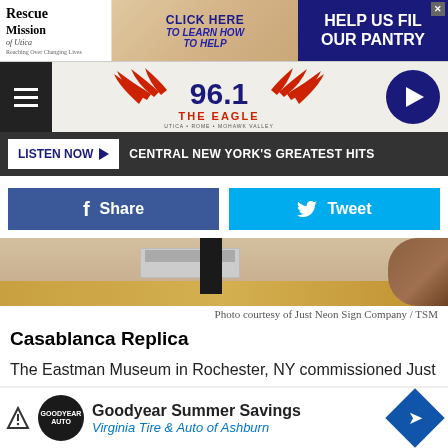[Figure (screenshot): Top advertisement banner for Rescue Mission of Utica with text CLICK HERE TO LEARN HOW TO HELP and HELP US FILL OUR PANTRY on dark blue background]
[Figure (logo): 96.1 The Eagle radio station logo with red wings and navigation bar with hamburger menu and play button]
LISTEN NOW ▶   CENTRAL NEW YORK'S GREATEST HITS
[Figure (screenshot): Facebook Share button (blue) and Twitter Tweet button (cyan) side by side]
[Figure (photo): Interior photo showing a person standing in what appears to be a room with wooden floors]
Photo courtesy of Just Neon Sign Company / TSM
Casablanca Replica
The Eastman Museum in Rochester, NY commissioned Just Neon Sign Company to create a replica of the Rick's Cafe neon from the movie Casablanca. The sign is now on display at the
[Figure (screenshot): Goodyear Summer Savings advertisement - Virginia Tire & Auto of Ashburn with Goodyear auto logo]